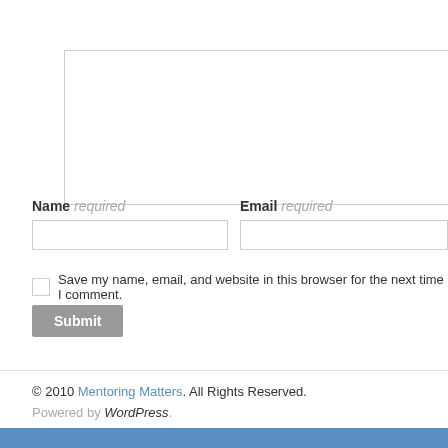[Figure (other): Comment text area input box (empty), with border]
Name required
Email required
[Figure (other): Name text input field (empty), with border]
[Figure (other): Email text input field (empty), with border]
Save my name, email, and website in this browser for the next time I comment.
Submit
© 2010 Mentoring Matters. All Rights Reserved.
Powered by WordPress.